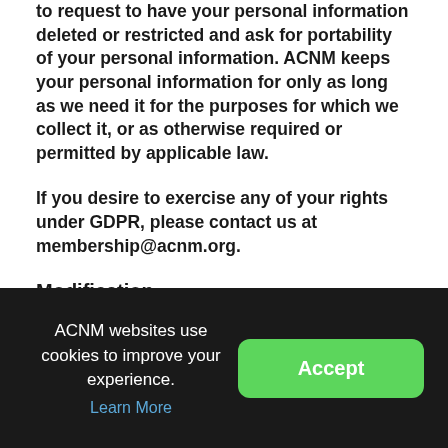to request to have your personal information deleted or restricted and ask for portability of your personal information. ACNM keeps your personal information for only as long as we need it for the purposes for which we collect it, or as otherwise required or permitted by applicable law.
If you desire to exercise any of your rights under GDPR, please contact us at membership@acnm.org.
Modification
ACNM websites use cookies to improve your experience.
Learn More